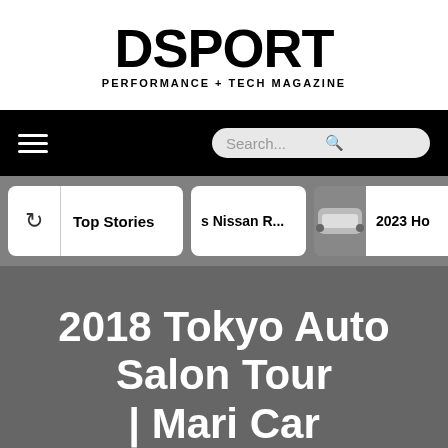[Figure (logo): DSPORT Performance + Tech Magazine logo]
[Figure (screenshot): Navigation bar with hamburger menu and search box]
[Figure (screenshot): Stories bar with Top Stories, Nissan R..., and 2023 Ho... cards]
2018 Tokyo Auto Salon Tour | Mari Car
Home > The Scene > 2018 Tokyo Auto Salon Tour | Mari Car